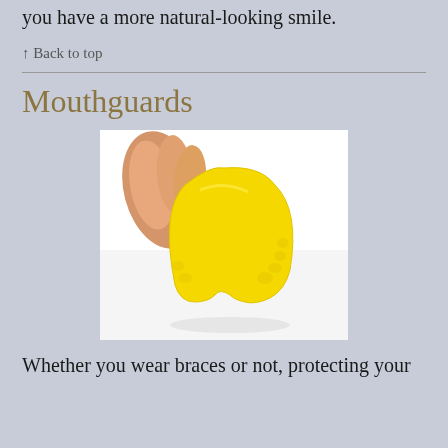you have a more natural-looking smile.
↑ Back to top
Mouthguards
[Figure (photo): A hand holding a yellow dental mouthguard against a white background. The mouthguard is U-shaped with a molded surface showing tooth impressions.]
Whether you wear braces or not, protecting your